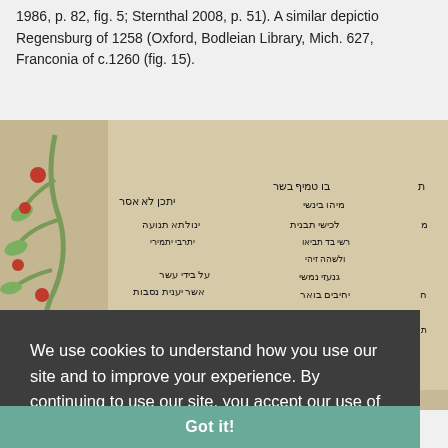1986, p. 82, fig. 5; Sternthal 2008, p. 51). A similar depiction Regensburg of 1258 (Oxford, Bodleian Library, Mich. 627, Franconia of c.1260 (fig. 15).
[Figure (photo): A photograph of an illuminated Hebrew manuscript page showing decorated marginalia with figures and Hebrew text columns on parchment.]
We use cookies to understand how you use our site and to improve your experience. By continuing to use our site, you accept our use of cookies.
Got it!